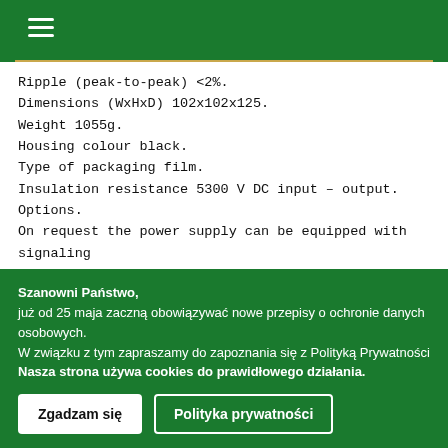Navigation header with hamburger menu icon
Ripple (peak-to-peak) <2%.
Dimensions (WxHxD) 102x102x125.
Weight 1055g.
Housing colour black.
Type of packaging film.
Insulation resistance 5300 V DC input – output.
Options.
On request the power supply can be equipped with signaling systems of power failure and remote switching on and off.
Notes:
Possibility of obtaining the power supply operating at 05...160V AC
Szanowni Państwo,
już od 25 maja zaczną obowiązywać nowe przepisy o ochronie danych osobowych.
W związku z tym zapraszamy do zapoznania się z Polityką Prywatności
Nasza strona używa cookies do prawidłowego działania.
Zgadzam się  Polityka prywatności